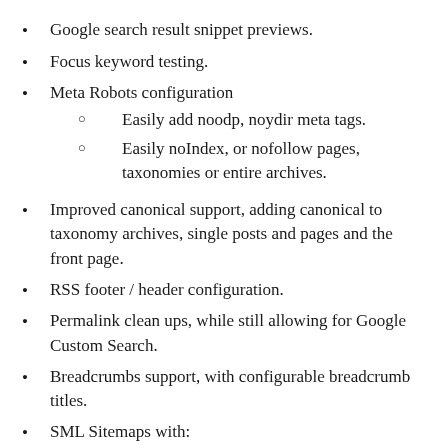Google search result snippet previews.
Focus keyword testing.
Meta Robots configuration
Easily add noodp, noydir meta tags.
Easily noIndex, or nofollow pages, taxonomies or entire archives.
Improved canonical support, adding canonical to taxonomy archives, single posts and pages and the front page.
RSS footer / header configuration.
Permalink clean ups, while still allowing for Google Custom Search.
Breadcrumbs support, with configurable breadcrumb titles.
SML Sitemaps with:
Images
Configurable removal of post types and taxonomies